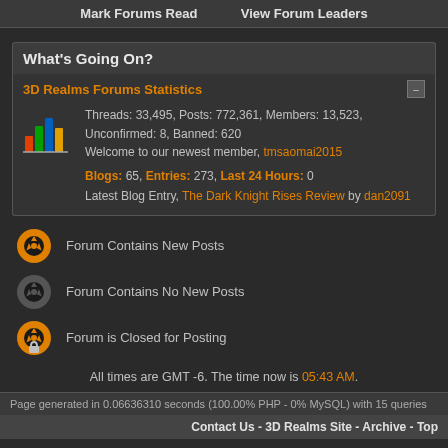Mark Forums Read   View Forum Leaders
What's Going On?
3D Realms Forums Statistics
Threads: 33,495, Posts: 772,361, Members: 13,523, Unconfirmed: 8, Banned: 620 Welcome to our newest member, tmsaomai2015
Blogs: 65, Entries: 273, Last 24 Hours: 0 Latest Blog Entry, The Dark Knight Rises Review by dan2091
Forum Contains New Posts
Forum Contains No New Posts
Forum is Closed for Posting
All times are GMT -6. The time now is 05:43 AM.
Page generated in 0.06636310 seconds (100.00% PHP - 0% MySQL) with 15 queries
Contact Us - 3D Realms Site - Archive - Top
Powered by vBulletin® Version 3.8.7
Copyright ©2000 - 2022, vBulletin Solutions, Inc.

Website is ©1987-2014 Apogee Software, Ltd.
Ideas and messages posted here become property of Apogee Software Ltd.